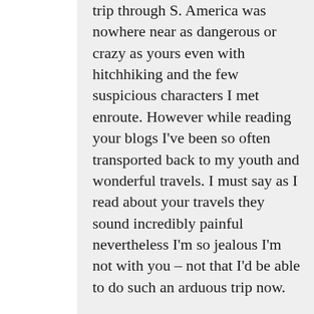trip through S. America was nowhere near as dangerous or crazy as yours even with hitchhiking and the few suspicious characters I met enroute. However while reading your blogs I've been so often transported back to my youth and wonderful travels. I must say as I read about your travels they sound incredibly painful nevertheless I'm so jealous I'm not with you – not that I'd be able to do such an arduous trip now.